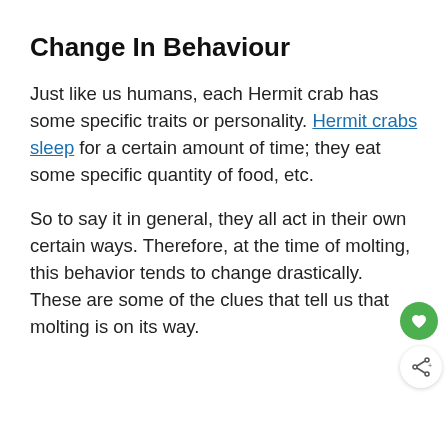Change In Behaviour
Just like us humans, each Hermit crab has some specific traits or personality. Hermit crabs sleep for a certain amount of time; they eat some specific quantity of food, etc.
So to say it in general, they all act in their own certain ways. Therefore, at the time of molting, this behavior tends to change drastically. These are some of the clues that tell us that molting is on its way.